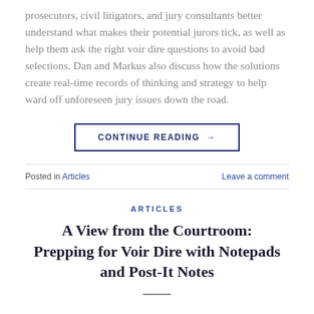prosecutors, civil litigators, and jury consultants better understand what makes their potential jurors tick, as well as help them ask the right voir dire questions to avoid bad selections. Dan and Markus also discuss how the solutions create real-time records of thinking and strategy to help ward off unforeseen jury issues down the road.
CONTINUE READING →
Posted in Articles
Leave a comment
ARTICLES
A View from the Courtroom: Prepping for Voir Dire with Notepads and Post-It Notes